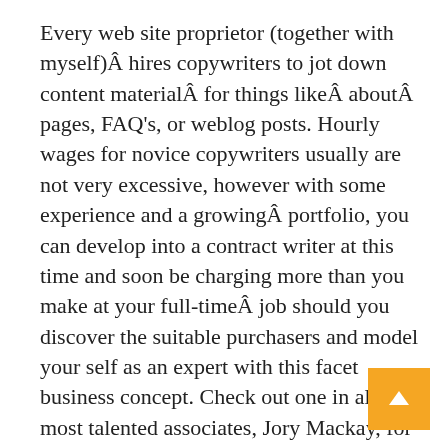Every web site proprietor (together with myself)Â hires copywriters to jot down content materialÂ for things likeÂ aboutÂ pages, FAQ's, or weblog posts. Hourly wages for novice copywriters usually are not very excessive, however with some experience and a growingÂ portfolio, you can develop into a contract writer at this time and soon be charging more than you make at your full-timeÂ job should you discover the suitable purchasers and model your self as an expert with this facet business concept. Check out one in all my most talented associates, Jory Mackay, for an example of somebody who's doing an ideal job of positioning himself as a premium service-supplier with hisÂ freelance writing side enterprise thought.Â Then whenever you're prepared to cold emailing potential clients, decide up my free